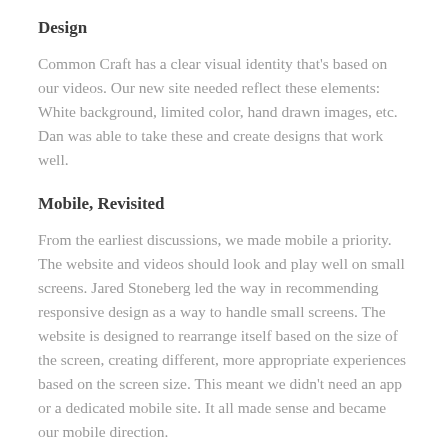Design
Common Craft has a clear visual identity that's based on our videos.  Our new site needed reflect these elements: White background, limited color, hand drawn images, etc. Dan was able to take these and create designs that work well.
Mobile, Revisited
From the earliest discussions, we made mobile a priority.  The website and videos should look and play well on small screens.  Jared Stoneberg led the way in recommending responsive design as a way to handle small screens. The website is designed to rearrange itself based on the size of the screen, creating different, more appropriate experiences based on the screen size. This meant we didn't need an app or a dedicated mobile site. It all made sense and became our mobile direction.
C…